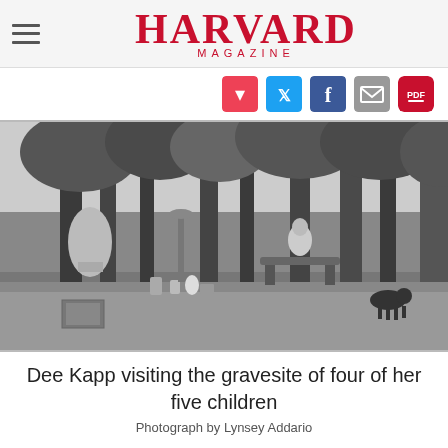HARVARD MAGAZINE
[Figure (photo): Black and white photograph of Dee Kapp, an elderly woman, sitting on a bench at a wooded gravesite surrounded by statues, ornaments, potted plants, and a small black dog. Trees are visible in the background.]
Dee Kapp visiting the gravesite of four of her five children
Photograph by Lynsey Addario